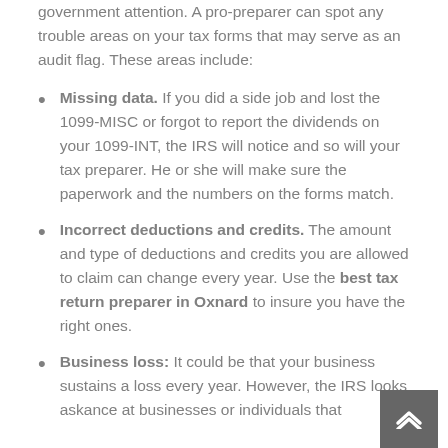government attention. A pro-preparer can spot any trouble areas on your tax forms that may serve as an audit flag. These areas include:
Missing data. If you did a side job and lost the 1099-MISC or forgot to report the dividends on your 1099-INT, the IRS will notice and so will your tax preparer. He or she will make sure the paperwork and the numbers on the forms match.
Incorrect deductions and credits. The amount and type of deductions and credits you are allowed to claim can change every year. Use the best tax return preparer in Oxnard to insure you have the right ones.
Business loss: It could be that your business sustains a loss every year. However, the IRS looks askance at businesses or individuals that